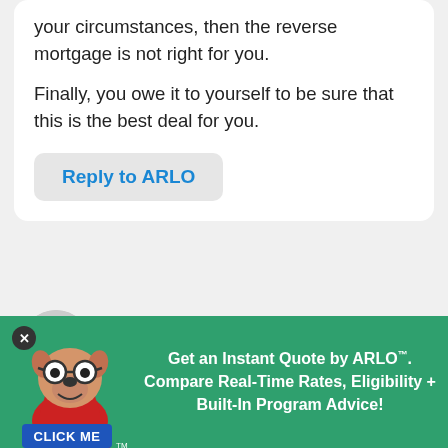your circumstances, then the reverse mortgage is not right for you.
Finally, you owe it to yourself to be sure that this is the best deal for you.
Reply to ARLO
MS
November 15th, 2018
First, this is the most informative site on RMs. Great job! I am working with AAG,
[Figure (infographic): Green promotional banner with cartoon dog mascot wearing glasses and red cape, 'CLICK ME' badge, text: Get an Instant Quote by ARLO™. Compare Real-Time Rates, Eligibility + Built-In Program Advice!]